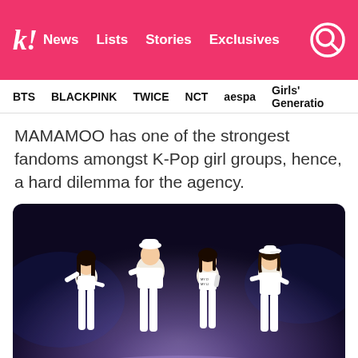k! News Lists Stories Exclusives
BTS BLACKPINK TWICE NCT aespa Girls' Generation
MAMAMOO has one of the strongest fandoms amongst K-Pop girl groups, hence, a hard dilemma for the agency.
[Figure (photo): Four members of MAMAMOO performing on stage, all wearing white outfits, on a stage with purple and blue lighting.]